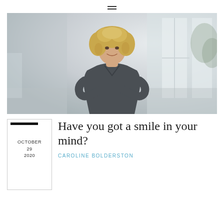≡
[Figure (photo): Professional woman with curly blonde hair, wearing a dark grey blazer, arms crossed, smiling, standing in a bright room with large windows]
OCTOBER 29 2020
Have you got a smile in your mind?
CAROLINE BOLDERSTON